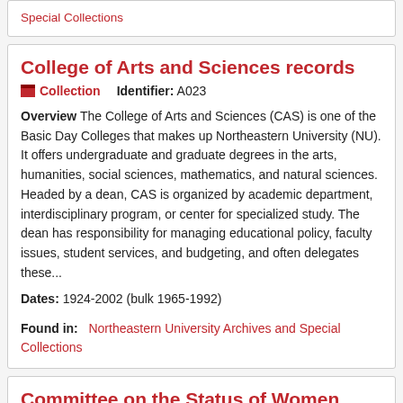Special Collections
College of Arts and Sciences records
Collection   Identifier: A023
Overview The College of Arts and Sciences (CAS) is one of the Basic Day Colleges that makes up Northeastern University (NU). It offers undergraduate and graduate degrees in the arts, humanities, social sciences, mathematics, and natural sciences. Headed by a dean, CAS is organized by academic department, interdisciplinary program, or center for specialized study. The dean has responsibility for managing educational policy, faculty issues, student services, and budgeting, and often delegates these...
Dates: 1924-2002 (bulk 1965-1992)
Found in:   Northeastern University Archives and Special Collections
Committee on the Status of Women records